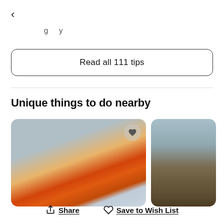<
g   y
Read all 111 tips
Unique things to do nearby
[Figure (photo): Two photos side by side: left shows a volcanic eruption with orange lava and gray sky, right shows a rocky cliff face with mountains and blue sky in background. The left card has a heart/wishlist icon overlay.]
Share   Save to Wish List